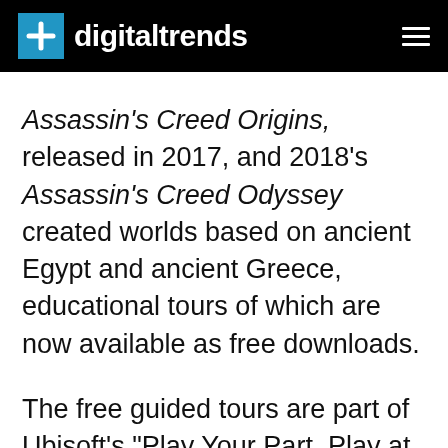digitaltrends
Assassin's Creed Origins, released in 2017, and 2018's Assassin's Creed Odyssey created worlds based on ancient Egypt and ancient Greece, educational tours of which are now available as free downloads.
The free guided tours are part of Ubisoft's "Play Your Part, Play at Home" campaign, which is offering free games to help people while away the time as they stay at home